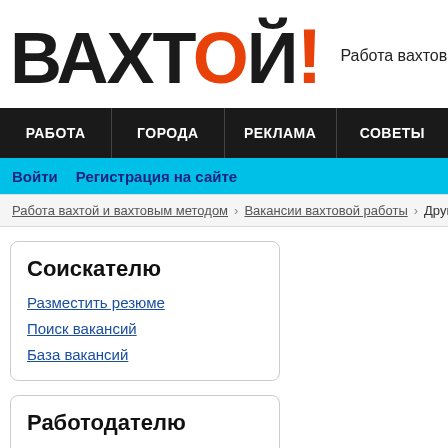ВАХТОЙ! Работа вахтовым м
РАБОТА  ГОРОДА  РЕКЛАМА  СОВЕТЫ
Войти  Регистрация на сайте
Работа вахтой и вахтовым методом › Вакансии вахтовой работы › Другое
Соискателю
Разместить резюме
Поиск вакансий
База вакансий
Работодателю
Разместить вакансию
Поиск работников
База данных